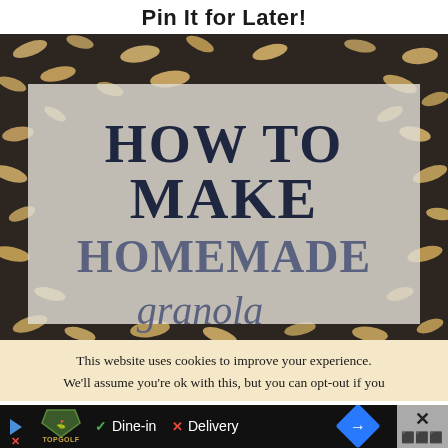Pin It for Later!
[Figure (photo): Photo of homemade granola oats scattered on a dark surface with a semi-transparent white overlay card reading 'HOW TO MAKE HOMEMADE' and cursive script text below]
This website uses cookies to improve your experience. We'll assume you're ok with this, but you can opt-out if you
[Figure (other): Advertisement banner with Topgolf logo, dine-in and delivery options with checkmark and X icons, blue navigation diamond button, and close/X button]